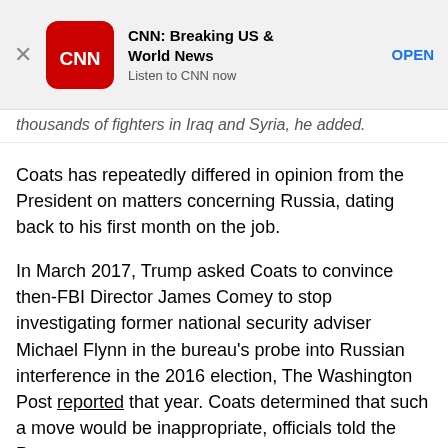[Figure (logo): CNN app banner advertisement with red CNN logo, bold title 'CNN: Breaking US & World News', subtitle 'Listen to CNN now', and blue 'OPEN' button]
thousands of fighters in Iraq and Syria, he added.
Coats has repeatedly differed in opinion from the President on matters concerning Russia, dating back to his first month on the job.
In March 2017, Trump asked Coats to convince then-FBI Director James Comey to stop investigating former national security adviser Michael Flynn in the bureau's probe into Russian interference in the 2016 election, The Washington Post reported that year. Coats determined that such a move would be inappropriate, officials told the Post.
At a security summit last summer, Coats said that he was unaware of what had happened between Trump